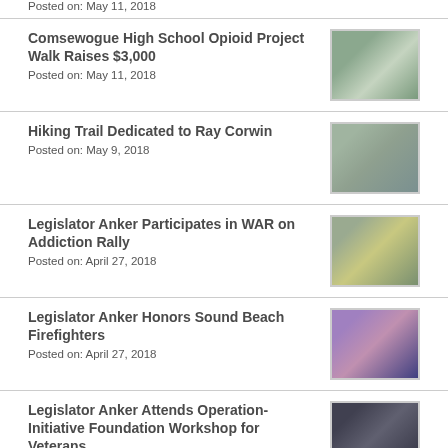Posted on: May 11, 2018
Comsewogue High School Opioid Project Walk Raises $3,000
Posted on: May 11, 2018
Hiking Trail Dedicated to Ray Corwin
Posted on: May 9, 2018
Legislator Anker Participates in WAR on Addiction Rally
Posted on: April 27, 2018
Legislator Anker Honors Sound Beach Firefighters
Posted on: April 27, 2018
Legislator Anker Attends Operation-Initiative Foundation Workshop for Veterans
Posted on: April 23, 2018